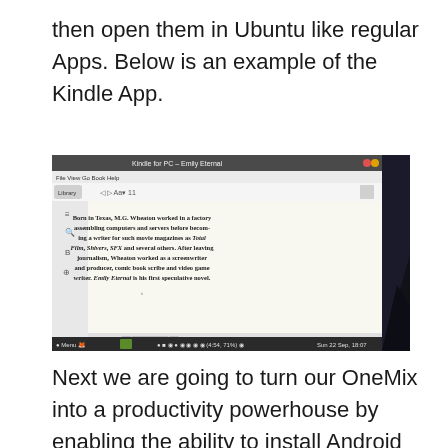then open them in Ubuntu like regular Apps. Below is an example of the Kindle App.
[Figure (screenshot): Screenshot of Kindle for PC app - Emily Eternal, showing a passage of text about M.G. Wheaton, running on Ubuntu with a taskbar at the bottom showing Sun 22 Sep, 18:07]
Next we are going to turn our OneMix into a productivity powerhouse by enabling the ability to install Android